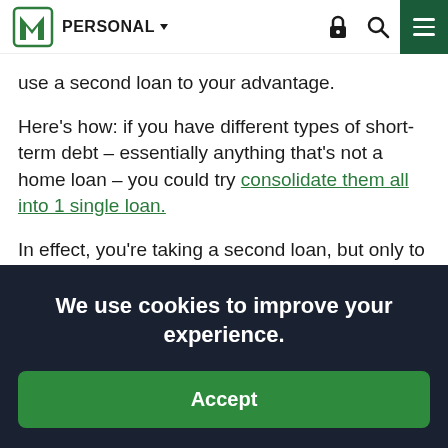PERSONAL
use a second loan to your advantage.
Here’s how: if you have different types of short-term debt – essentially anything that’s not a home loan – you could try consolidate them all into 1 single loan.
In effect, you’re taking a second loan, but only to gather all your other debts into 1
We use cookies to improve your experience.
Accept